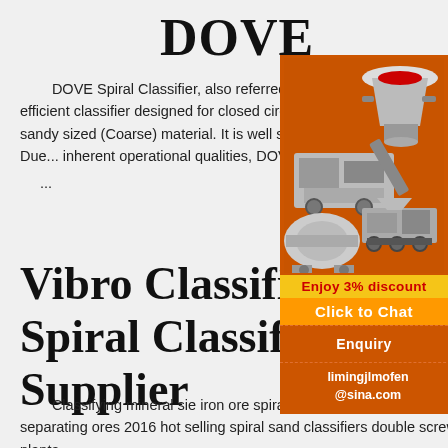DOVE
DOVE Spiral Classifier, also referred to as Screw Classifier, or Spiral Mineral Separator, is highly efficient classifier designed for closed circuit wet classification and separation of the Slimes (Fines) from a sandy sized (Coarse) material. It is well suited for classifica... where a two product size-split is required. Due... inherent operational qualities, DOVE Spiral Cl... ...
[Figure (illustration): Orange sidebar advertisement showing mining/crushing equipment machines (cone crusher, jaw crusher, ball mill), with 'Enjoy 3% discount', 'Click to Chat', 'Enquiry', and email 'limingjlmofen@sina.com' sections.]
Vibro Classifier Spiral Classifier Supplier
Classifying mineral sie iron ore spiral clas... set 016 high efficiency spiral classifier for was... separating ores 2016 hot selling spiral sand classifiers double screw classifieret price spiral separator planta